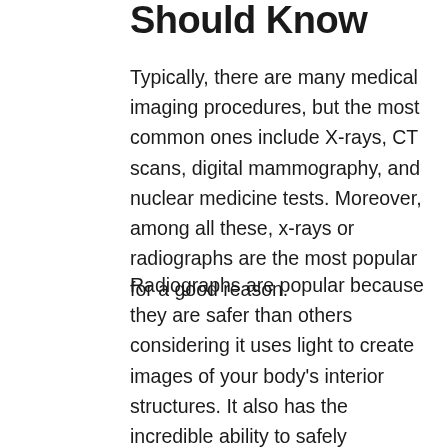Should Know
Typically, there are many medical imaging procedures, but the most common ones include X-rays, CT scans, digital mammography, and nuclear medicine tests. Moreover, among all these, x-rays or radiographs are the most popular for a good reason.
Radiographs are popular because they are safer than others considering it uses light to create images of your body's interior structures. It also has the incredible ability to safely penetrate your skin to reveal growths and injuries without adverse effects. They can be done in any position, take any structure of your body organs, and